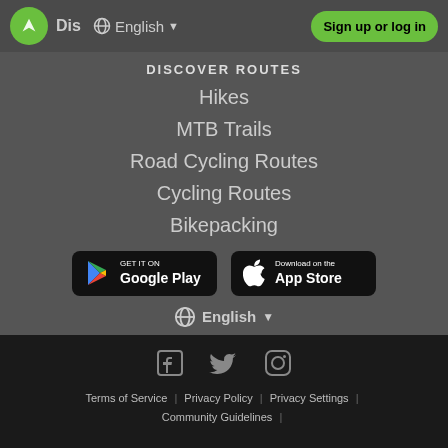Dis | English | Sign up or log in
DISCOVER ROUTES
Hikes
MTB Trails
Road Cycling Routes
Cycling Routes
Bikepacking
[Figure (logo): Google Play store badge]
[Figure (logo): Apple App Store badge]
English
[Figure (infographic): Social media icons: Facebook, Twitter, Instagram]
Terms of Service | Privacy Policy | Privacy Settings | Community Guidelines